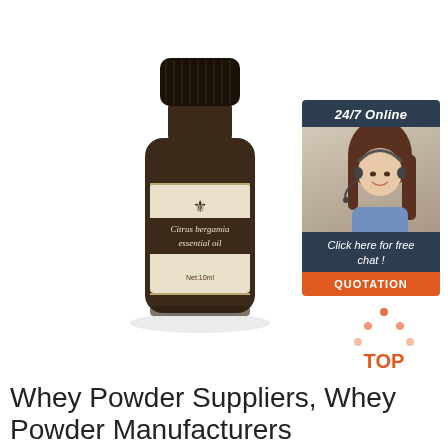[Figure (photo): A small dark amber glass bottle with a black ridged cap and a cream/beige label reading 'Citrus bergamia essential oil' with a fleur-de-lis symbol and 'Net:10ml' at the bottom. Product photo on white background.]
[Figure (infographic): A customer service chat widget showing '24/7 Online' header, a photo of a smiling woman with a headset, text 'Click here for free chat !', and an orange 'QUOTATION' button.]
[Figure (infographic): A red and orange 'TOP' button icon with upward-pointing triangle/dots above the text.]
Whey Powder Suppliers, Whey Powder Manufacturers